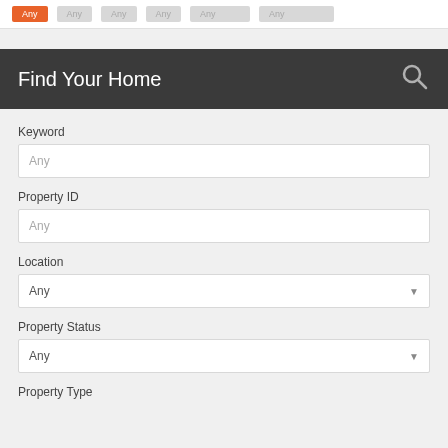[Figure (screenshot): Top navigation bar with tab buttons: one orange active tab and several grey inactive tabs]
Find Your Home
Keyword
Any
Property ID
Any
Location
Any
Property Status
Any
Property Type